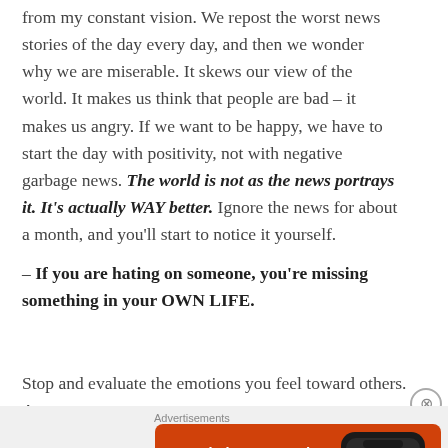from my constant vision. We repost the worst news stories of the day every day, and then we wonder why we are miserable. It skews our view of the world. It makes us think that people are bad – it makes us angry. If we want to be happy, we have to start the day with positivity, not with negative garbage news. The world is not as the news portrays it. It's actually WAY better. Ignore the news for about a month, and you'll start to notice it yourself.
– If you are hating on someone, you're missing something in your OWN LIFE.
Stop and evaluate the emotions you feel toward others. Are
[Figure (screenshot): DuckDuckGo advertisement banner: orange background with white bold text 'Search, browse, and email with more privacy.' and a white button with orange text 'All in One Free App'. Right side shows a smartphone mockup with DuckDuckGo logo and name.]